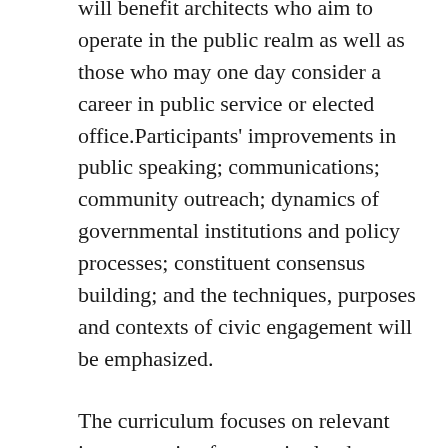will benefit architects who aim to operate in the public realm as well as those who may one day consider a career in public service or elected office.Participants' improvements in public speaking; communications; community outreach; dynamics of governmental institutions and policy processes; constituent consensus building; and the techniques, purposes and contexts of civic engagement will be emphasized.
The curriculum focuses on relevant issues ranging from major land use and public space debates, public development and infrastructure projects, sustainability and resilience initiatives, public interest design, public funding mechanisms as well as the interplay of